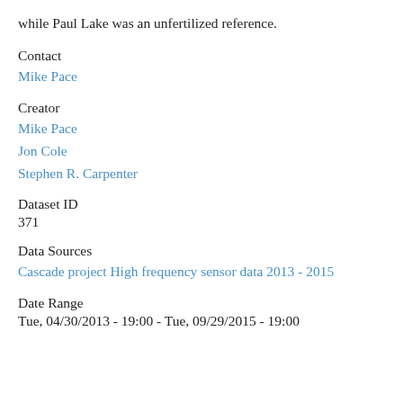while Paul Lake was an unfertilized reference.
Contact
Mike Pace
Creator
Mike Pace
Jon Cole
Stephen R. Carpenter
Dataset ID
371
Data Sources
Cascade project High frequency sensor data 2013 - 2015
Date Range
Tue, 04/30/2013 - 19:00 - Tue, 09/29/2015 - 19:00